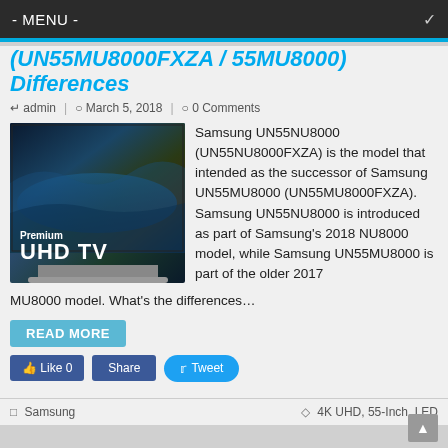- MENU -
(UN55MU8000FXZA / 55MU8000) Differences
admin | March 5, 2018 | 0 Comments
[Figure (photo): Samsung Premium UHD TV product photo]
Samsung UN55NU8000 (UN55NU8000FXZA) is the model that intended as the successor of Samsung UN55MU8000 (UN55MU8000FXZA). Samsung UN55NU8000 is introduced as part of Samsung's 2018 NU8000 model, while Samsung UN55MU8000 is part of the older 2017 MU8000 model. What's the differences…
READ MORE
Like 0  Share  Tweet
Samsung | 4K UHD, 55-Inch, LED